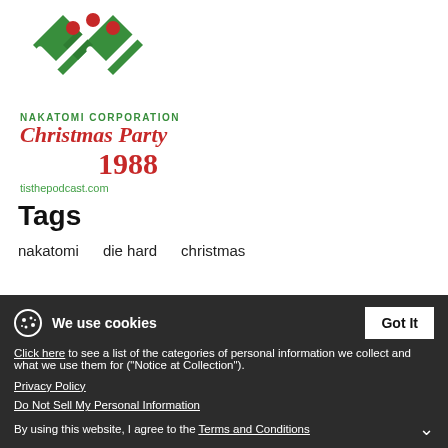[Figure (logo): Nakatomi Corporation logo with green diamond/checkmark shapes, red dots, company name, Christmas Party 1988 text in red italic, and tisthepodcast.com URL in green]
Tags
nakatomi
die hard
christmas
Share
[Figure (infographic): Social share icons: Facebook, Twitter, Pinterest, Email]
We use cookies
Click here to see a list of the categories of personal information we collect and what we use them for ("Notice at Collection").
Privacy Policy
Do Not Sell My Personal Information
By using this website, I agree to the Terms and Conditions